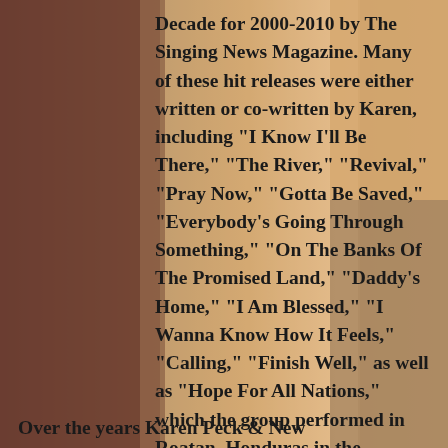[Figure (photo): Background photo of a smiling blonde woman in a dark jacket with other people partially visible, overlaid with text. Warm orange/peach tones on the right side, darker tones on the left.]
Decade for 2000-2010 by The Singing News Magazine. Many of these hit releases were either written or co-written by Karen, including "I Know I'll Be There," "The River," "Revival," "Pray Now," "Gotta Be Saved," "Everybody's Going Through Something," "On The Banks Of The Promised Land," "Daddy's Home," "I Am Blessed," "I Wanna Know How It Feels," "Calling," "Finish Well," as well as "Hope For All Nations," which the group performed in Roatan, Honduras in the summer of 2017.
Over the years Karen Peck & New